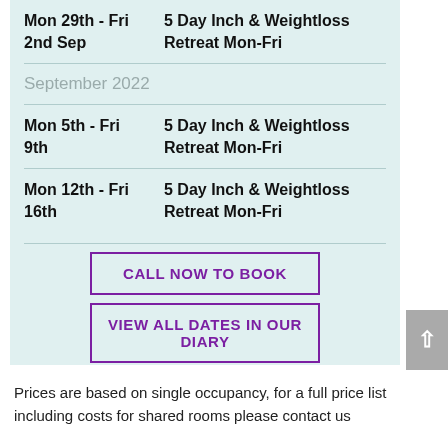Mon 29th - Fri 2nd Sep | 5 Day Inch & Weightloss Retreat Mon-Fri
September 2022
Mon 5th - Fri 9th | 5 Day Inch & Weightloss Retreat Mon-Fri
Mon 12th - Fri 16th | 5 Day Inch & Weightloss Retreat Mon-Fri
CALL NOW TO BOOK
VIEW ALL DATES IN OUR DIARY
Prices are based on single occupancy, for a full price list including costs for shared rooms please contact us